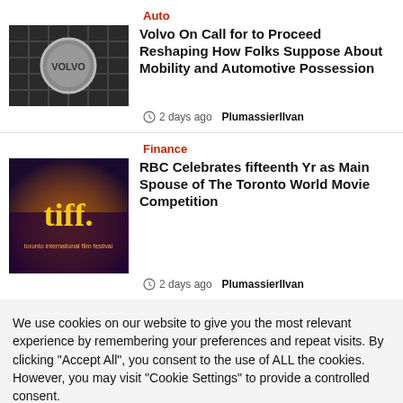Auto
[Figure (photo): Volvo logo on car grille, black and white photo]
Volvo On Call for to Proceed Reshaping How Folks Suppose About Mobility and Automotive Possession
2 days ago  PlumassierlIvan
Finance
[Figure (photo): TIFF (Toronto International Film Festival) illuminated sign, yellow and orange on dark background]
RBC Celebrates fifteenth Yr as Main Spouse of The Toronto World Movie Competition
2 days ago  PlumassierlIvan
We use cookies on our website to give you the most relevant experience by remembering your preferences and repeat visits. By clicking "Accept All", you consent to the use of ALL the cookies. However, you may visit "Cookie Settings" to provide a controlled consent.
Cookie Settings  Accept All